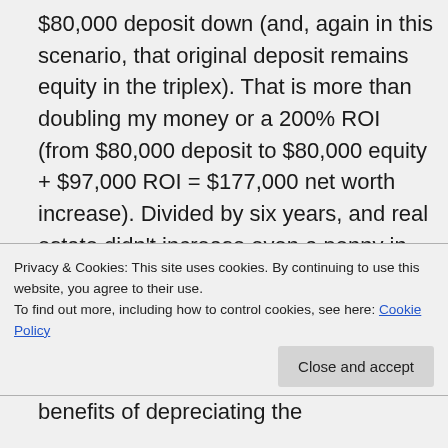$80,000 deposit down (and, again in this scenario, that original deposit remains equity in the triplex). That is more than doubling my money or a 200% ROI (from $80,000 deposit to $80,000 equity + $97,000 ROI = $177,000 net worth increase). Divided by six years, and real estate didn't increase even a penny in value, and I'll still be earning roughly a 37% ROI per year.
Privacy & Cookies: This site uses cookies. By continuing to use this website, you agree to their use.
To find out more, including how to control cookies, see here: Cookie Policy
benefits of depreciating the